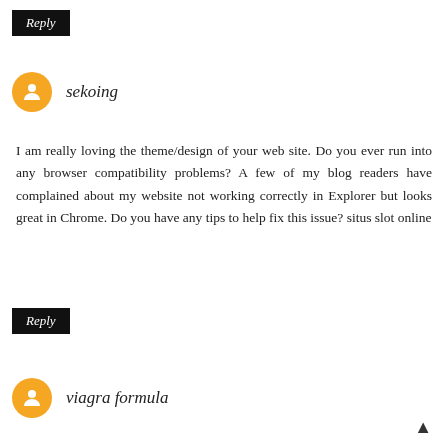Reply
sekoing
I am really loving the theme/design of your web site. Do you ever run into any browser compatibility problems? A few of my blog readers have complained about my website not working correctly in Explorer but looks great in Chrome. Do you have any tips to help fix this issue? situs slot online
Reply
viagra formula